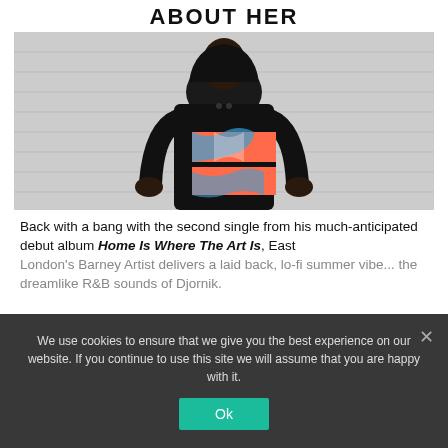ABOUT HER
[Figure (photo): A person wearing a black hoodie with a colorful abstract graphic print on the chest, standing against a white brick wall.]
Back with a bang with the second single from his much-anticipated debut album Home Is Where The Art Is, East London's Barney Artist delivers a laid back, lo-fi summer vibe... the dreamlike R&B sounds of Djornik.
We use cookies to ensure that we give you the best experience on our website. If you continue to use this site we will assume that you are happy with it.